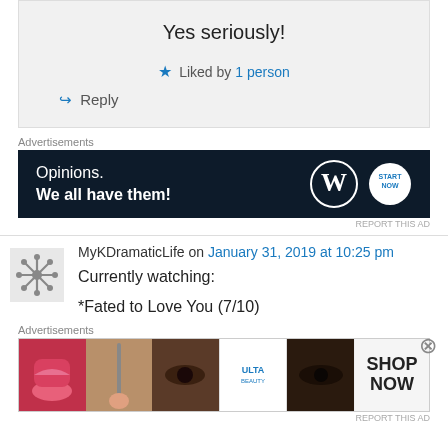Yes seriously!
★ Liked by 1 person
↪ Reply
Advertisements
[Figure (other): WordPress ad banner: 'Opinions. We all have them!' with WordPress and 'Start Now' logos on dark navy background]
REPORT THIS AD
MyKDramaticLife on January 31, 2019 at 10:25 pm
Currently watching:
*Fated to Love You (7/10)
Advertisements
[Figure (other): Ulta beauty ad banner with makeup photos and 'SHOP NOW' button]